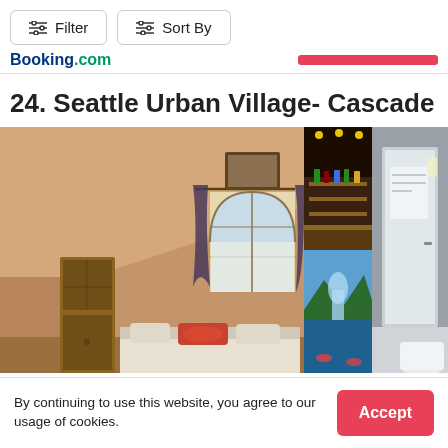[Figure (screenshot): Filter and Sort By buttons with slider/equalizer icons in a white UI header]
[Figure (logo): Booking.com logo in blue and green text, with a red horizontal bar to the right]
24. Seattle Urban Village- Cascade
[Figure (photo): Hotel room photo showing a cozy attic-style bedroom with arched windows, curtains, a wooden cabinet, and a bed with decorative pillows. Side strip shows two additional smaller photos: a bar/restaurant interior and a waterfront scene.]
By continuing to use this website, you agree to our usage of cookies.